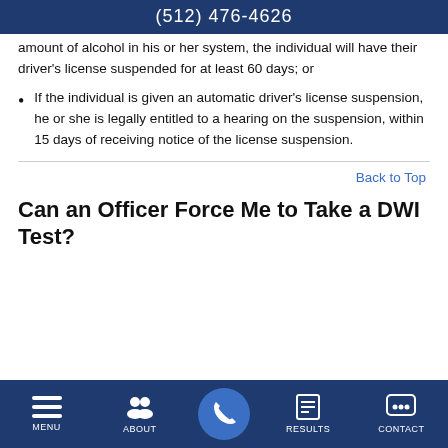(512) 476-4626
amount of alcohol in his or her system, the individual will have their driver's license suspended for at least 60 days; or
If the individual is given an automatic driver's license suspension, he or she is legally entitled to a hearing on the suspension, within 15 days of receiving notice of the license suspension.
Back to Top
Can an Officer Force Me to Take a DWI Test?
MENU  ABOUT  RESULTS  CONTACT